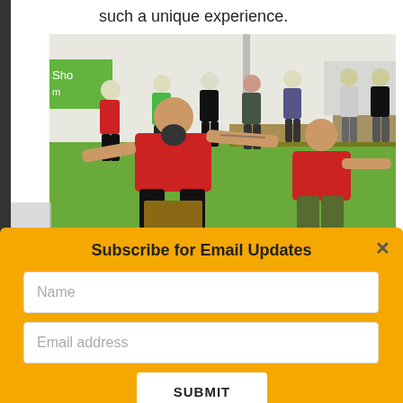such a unique experience.
[Figure (photo): Group of people in a gym with green mats. Two people in red shirts in the foreground performing a martial arts or movement exercise, one bald with a beard extending arms, the other squatting. Several observers standing in the background.]
Subscribe for Email Updates
Name
Email address
SUBMIT